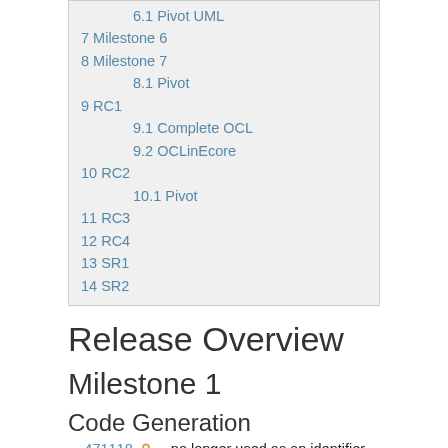6.1 Pivot UML
7 Milestone 6
8 Milestone 7
8.1 Pivot
9 RC1
9.1 Complete OCL
9.2 OCLinEcore
10 RC2
10.1 Pivot
11 RC3
12 RC4
13 SR1
14 SR2
Release Overview
Milestone 1
Code Generation
471118 🔒 _ no longer used as an identifier (avoiding Java 8 deprecation)